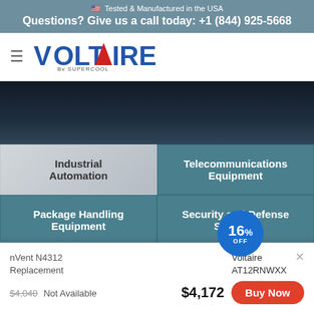🇺🇸 Tested & Manufactured in the USA
Questions? Give us a call today: +1 (844) 925-5668
[Figure (logo): Voltaire by Supercool logo — red and blue stylized text with a red triangle/mountain peak replacing the A]
| Column 1 | Column 2 |
| --- | --- |
| Industrial Automation | Telecommunications Equipment |
| Package Handling Equipment | Security and Defense Systems |
nVent N4312 Replacement
$4,040 Not Available
Voltaire AT12RNWXX
16% OFF
$4,172
Buy Now